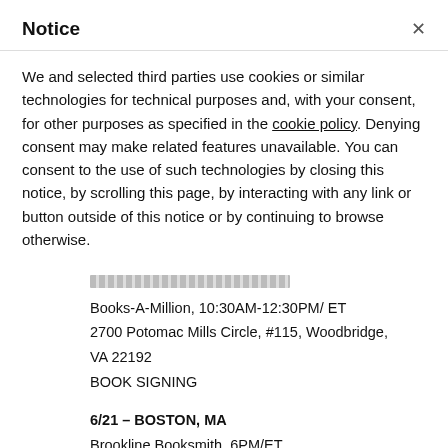Notice
We and selected third parties use cookies or similar technologies for technical purposes and, with your consent, for other purposes as specified in the cookie policy. Denying consent may make related features unavailable. You can consent to the use of such technologies by closing this notice, by scrolling this page, by interacting with any link or button outside of this notice or by continuing to browse otherwise.
[redacted/obscured line]
Books-A-Million, 10:30AM-12:30PM/ ET
2700 Potomac Mills Circle, #115, Woodbridge, VA 22192
BOOK SIGNING
6/21 – BOSTON, MA
Brookline Booksmith, 6PM/ET
279 Harvard St, Brookline, MA 02446